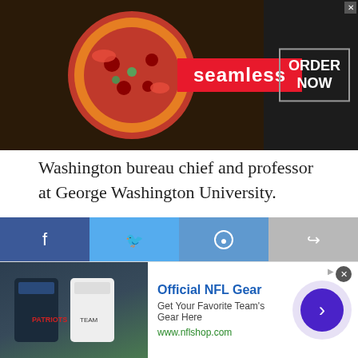[Figure (screenshot): Seamless food delivery advertisement banner with pizza image, Seamless red logo, and ORDER NOW button on dark background]
Washington bureau chief and professor at George Washington University.
The post Politico's Supreme Court scoop boosts security concerns appeared first on Associated Press.
Tags: Abortion  Arts and Entertainment  Business  Media  U.S. Supreme Court
[Figure (infographic): Social sharing bar with Facebook, Twitter, Reddit, and share buttons]
[Figure (screenshot): Official NFL Gear advertisement with team jerseys image, headline, subtext, URL www.nflshop.com, and a purple call-to-action button]